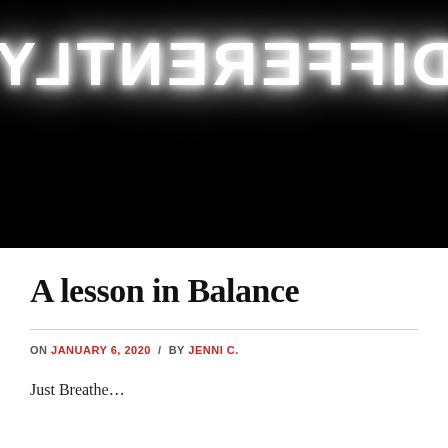[Figure (photo): Black and white photo of a neon sign reading DIFFERENTLY in mirrored/reversed lettering, glowing white against a dark background]
A lesson in Balance
ON JANUARY 6, 2020 / BY JENNI C.
Just Breathe…